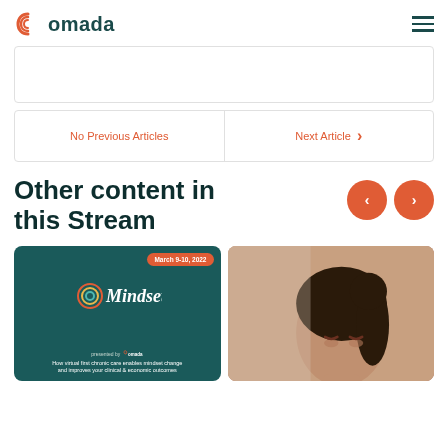omada
No Previous Articles
Next Article
Other content in this Stream
[Figure (illustration): Mindset conference card with teal background, date badge March 9-10 2022, Mindset logo, presented by omada, text about virtual first chronic care]
[Figure (photo): Woman with dark hair in bun, wearing pink top, eyes closed or looking down, light background]